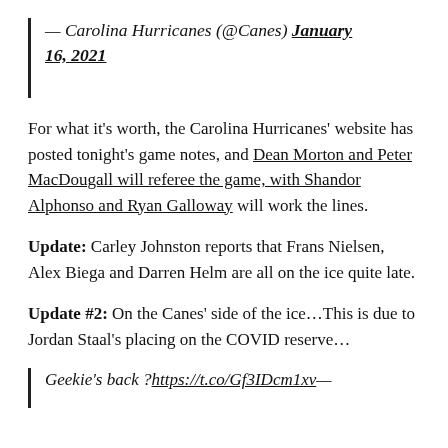— Carolina Hurricanes (@Canes) January 16, 2021
For what it's worth, the Carolina Hurricanes' website has posted tonight's game notes, and Dean Morton and Peter MacDougall will referee the game, with Shandor Alphonso and Ryan Galloway will work the lines.
Update: Carley Johnston reports that Frans Nielsen, Alex Biega and Darren Helm are all on the ice quite late.
Update #2: On the Canes' side of the ice…This is due to Jordan Staal's placing on the COVID reserve…
Geekie's back ?https://t.co/Gf3IDcm1xv—